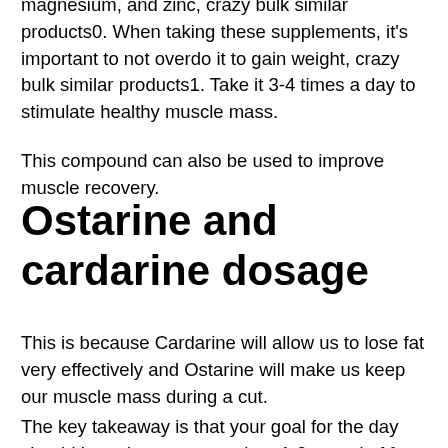magnesium, and zinc, crazy bulk similar products0. When taking these supplements, it's important to not overdo it to gain weight, crazy bulk similar products1. Take it 3-4 times a day to stimulate healthy muscle mass.
This compound can also be used to improve muscle recovery.
Ostarine and cardarine dosage
This is because Cardarine will allow us to lose fat very effectively and Ostarine will make us keep our muscle mass during a cut.
The key takeaway is that your goal for the day should be to lose no more than 1-2 pound of fat and make sure you are in a good carb-loading zone, best supplement